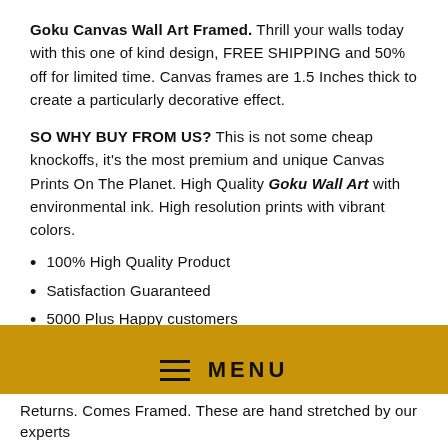Goku Canvas Wall Art Framed. Thrill your walls today with this one of kind design, FREE SHIPPING and 50% off for limited time. Canvas frames are 1.5 Inches thick to create a particularly decorative effect.
SO WHY BUY FROM US? This is not some cheap knockoffs, it's the most premium and unique Canvas Prints On The Planet. High Quality Goku Wall Art with environmental ink. High resolution prints with vibrant colors.
100% High Quality Product
Satisfaction Guaranteed
5000 Plus Happy customers
Best Price Money Back Guaranteed
Easy No Hassle Returns
Amazing Canvas Prints With Satin Finish
[Figure (other): Golden/yellow menu bar with hamburger icon and MENU text]
Returns. Comes Framed. These are hand stretched by our experts